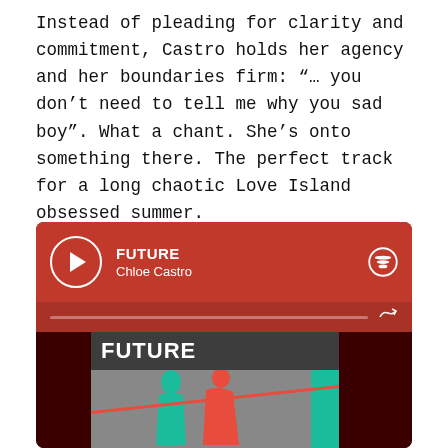Instead of pleading for clarity and commitment, Castro holds her agency and her boundaries firm: “… you don’t need to tell me why you sad boy”. What a chant. She’s onto something there. The perfect track for a long chaotic Love Island obsessed summer.
[Figure (screenshot): Spotify embed player showing the track 'FUTURE' by Chloe Castro. Red header with play button, track title and artist name, Spotify logo, progress bar, and album artwork below showing 'FUTURE' text with two silhouettes in teal and red.]